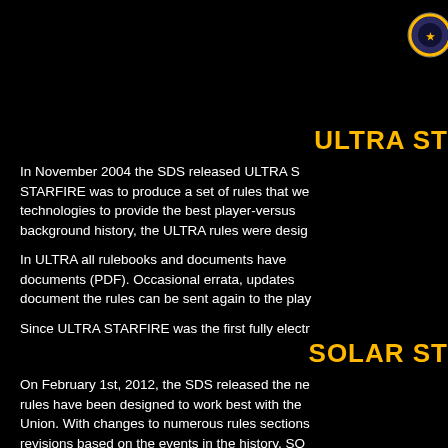[Figure (logo): Circular logo/emblem in gold and blue, partially visible in upper right corner]
ULTRA ST
In November 2004 the SDS released ULTRA STARFIRE was to produce a set of rules that we technologies to provide the best player-versus- background history, the ULTRA rules were desig
In ULTRA all rulebooks and documents have documents (PDF). Occasional errata, updates document the rules can be sent again to the play
Since ULTRA STARFIRE was the first fully electr
SOLAR ST
On February 1st, 2012, the SDS released the ne rules have been designed to work best with the Union. With changes to numerous rules sections revisions based on the events in the history, SO